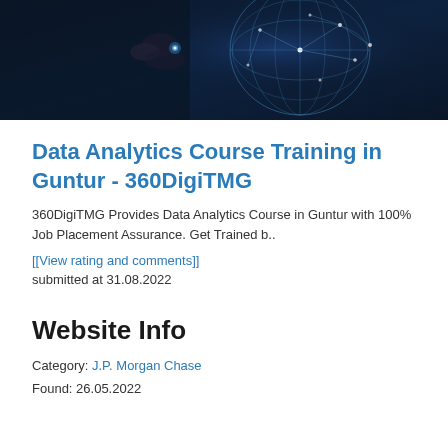[Figure (photo): Hero banner image showing hands interacting with a glowing digital globe/network visualization on a dark blue background]
Data Analytics Course Training in Guntur - 360DigiTMG
360DigiTMG Provides Data Analytics Course in Guntur with 100% Job Placement Assurance. Get Trained b..
[[View rating and comments]]
submitted at 31.08.2022
Website Info
Category: J.P. Morgan Chase
Found: 26.05.2022